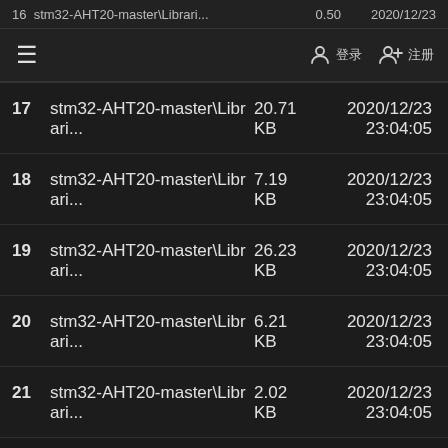Navigation bar with hamburger menu and user icons
| # | Name | Size | Date |
| --- | --- | --- | --- |
| 17 | stm32-AHT20-master\Librari... | 20.71 KB | 2020/12/23 23:04:05 |
| 18 | stm32-AHT20-master\Librari... | 7.19 KB | 2020/12/23 23:04:05 |
| 19 | stm32-AHT20-master\Librari... | 26.23 KB | 2020/12/23 23:04:05 |
| 20 | stm32-AHT20-master\Librari... | 6.21 KB | 2020/12/23 23:04:05 |
| 21 | stm32-AHT20-master\Librari... | 2.02 KB | 2020/12/23 23:04:05 |